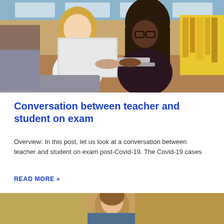[Figure (photo): Two women sitting together at a laptop in a library/classroom setting. One is a blonde woman in a white blouse smiling, the other is a Black woman with dreadlocks wearing glasses and a dark top, looking at the laptop screen. Colorful bookshelves visible in background.]
Conversation between teacher and student on exam
Overview: In this post, let us look at a conversation between teacher and student on exam post-Covid-19. The Covid-19 cases
READ MORE »
[Figure (photo): Partial photo of a person visible at bottom of page, cropped.]